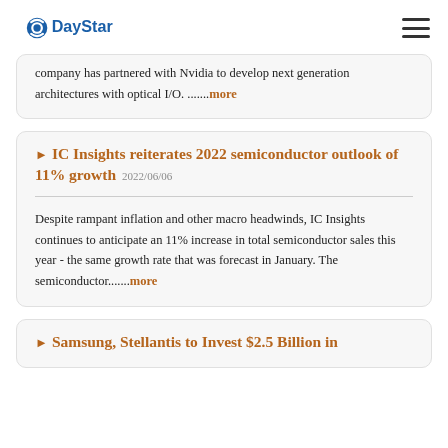DayStar
company has partnered with Nvidia to develop next generation architectures with optical I/O. .......more
IC Insights reiterates 2022 semiconductor outlook of 11% growth 2022/06/06
Despite rampant inflation and other macro headwinds, IC Insights continues to anticipate an 11% increase in total semiconductor sales this year - the same growth rate that was forecast in January. The semiconductor.......more
Samsung, Stellantis to Invest $2.5 Billion in